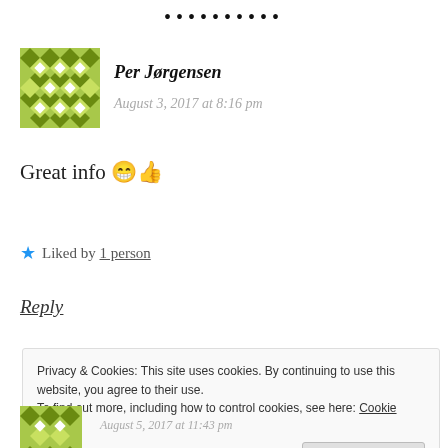••••••••••
Per Jørgensen
August 3, 2017 at 8:16 pm
Great info 😁👍
★ Liked by 1 person
Reply
Privacy & Cookies: This site uses cookies. By continuing to use this website, you agree to their use.
To find out more, including how to control cookies, see here: Cookie Policy
August 5, 2017 at 11:43 pm